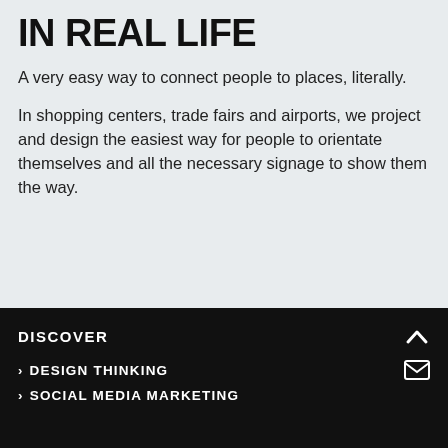IN REAL LIFE
A very easy way to connect people to places, literally.
In shopping centers, trade fairs and airports, we project and design the easiest way for people to orientate themselves and all the necessary signage to show them the way.
DISCOVER
> DESIGN THINKING
> SOCIAL MEDIA MARKETING